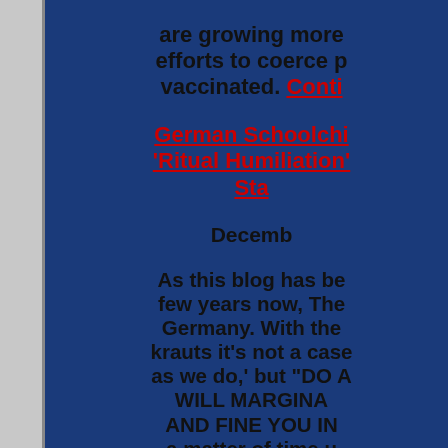are growing more efforts to coerce p vaccinated. Conti
German Schoolchi 'Ritual Humiliation' Sta
December
As this blog has be few years now, The Germany. With the krauts it's not a case as we do,' but "DO A WILL MARGINA AND FINE YOU IN a matter of time u Socialist coalition's